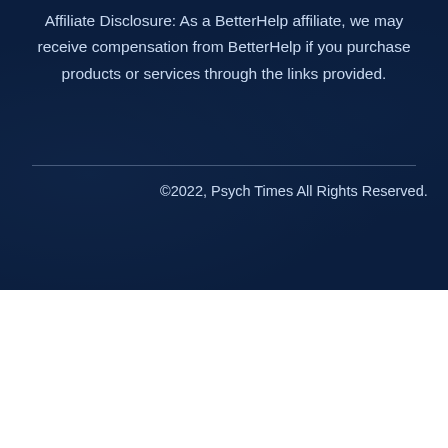Affiliate Disclosure: As a BetterHelp affiliate, we may receive compensation from BetterHelp if you purchase products or services through the links provided.
©2022, Psych Times All Rights Reserved.